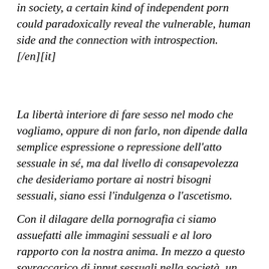in society, a certain kind of independent porn could paradoxically reveal the vulnerable, human side and the connection with introspection. [/en][it]
La libertà interiore di fare sesso nel modo che vogliamo, oppure di non farlo, non dipende dalla semplice espressione o repressione dell'atto sessuale in sé, ma dal livello di consapevolezza che desideriamo portare ai nostri bisogni sessuali, siano essi l'indulgenza o l'ascetismo.
Con il dilagare della pornografia ci siamo assuefatti alle immagini sessuali e al loro rapporto con la nostra anima. In mezzo a questo sovraccarico di input sessuali nella società, un